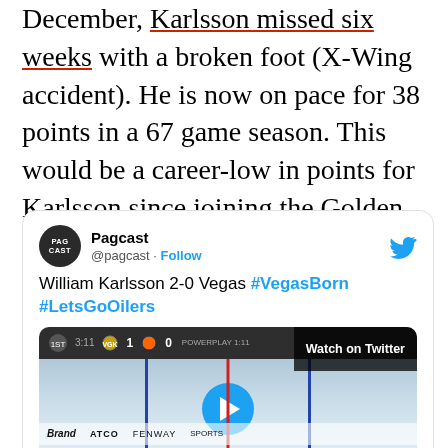December, Karlsson missed six weeks with a broken foot (X-Wing accident). He is now on pace for 38 points in a 67 game season. This would be a career-low in points for Karlsson since joining the Golden Knights.
[Figure (screenshot): Embedded tweet from @pagcast showing 'William Karlsson 2-0 Vegas #VegasBorn #LetsGoOilers' with a hockey game video thumbnail showing scoreboard 1-0 and a Watch on Twitter button.]